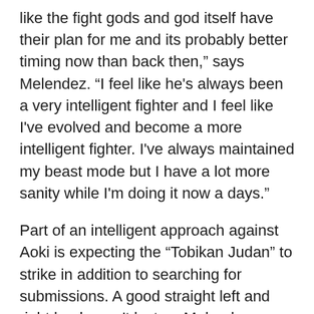like the fight gods and god itself have their plan for me and its probably better timing now than back then," says Melendez. "I feel like he's always been a very intelligent fighter and I feel like I've evolved and become a more intelligent fighter. I've always maintained my beast mode but I have a lot more sanity while I'm doing it now a days."
Part of an intelligent approach against Aoki is expecting the “Tobikan Judan” to strike in addition to searching for submissions. A good straight left and right hook aren't lost on Melendez; however, he calls the Japanese fighter's stand-up the weakest part of his game. No secrets, that's where he plans to attack.